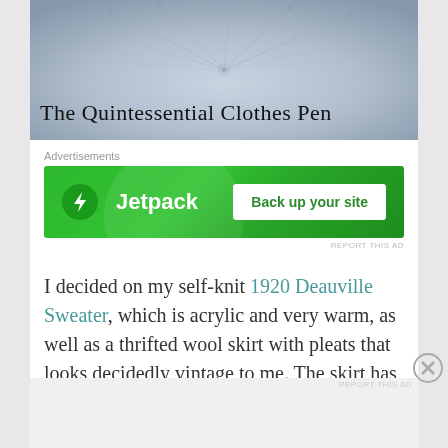[Figure (photo): Banner image with blue-grey abstract texture (close-up of a dandelion or similar), with the blog title overlaid at the bottom: 'The Quintessential Clothes Pen']
The Quintessential Clothes Pen
Advertisements
[Figure (screenshot): Jetpack advertisement banner: green background with Jetpack logo (lightning bolt in circle) and text 'Jetpack', and a white button reading 'Back up your site']
REPORT THIS AD
I decided on my self-knit 1920 Deauville Sweater, which is acrylic and very warm, as well as a thrifted wool skirt with pleats that looks decidedly vintage to me. The skirt has a
Advertisements